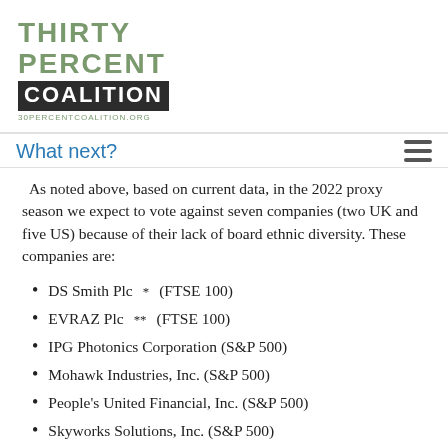[Figure (logo): Thirty Percent Coalition logo with green text 'THIRTY PERCENT' above dark box with white 'COALITION' text, and URL 30PERCENTCOALITION.ORG below]
What next?
As noted above, based on current data, in the 2022 proxy season we expect to vote against seven companies (two UK and five US) because of their lack of board ethnic diversity. These companies are:
DS Smith Plc* (FTSE 100)
EVRAZ Plc** (FTSE 100)
IPG Photonics Corporation (S&P 500)
Mohawk Industries, Inc. (S&P 500)
People's United Financial, Inc. (S&P 500)
Skyworks Solutions, Inc. (S&P 500)
Universal Health Services, Inc. (S&P 500)
The campaign is far from over, though. We have